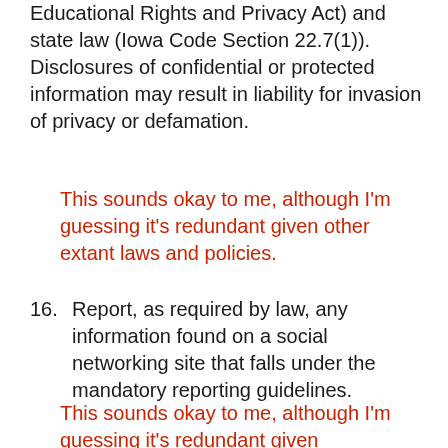Educational Rights and Privacy Act) and state law (Iowa Code Section 22.7(1)). Disclosures of confidential or protected information may result in liability for invasion of privacy or defamation.
This sounds okay to me, although I'm guessing it's redundant given other extant laws and policies.
16. Report, as required by law, any information found on a social networking site that falls under the mandatory reporting guidelines.
This sounds okay to me, although I'm guessing it's redundant given